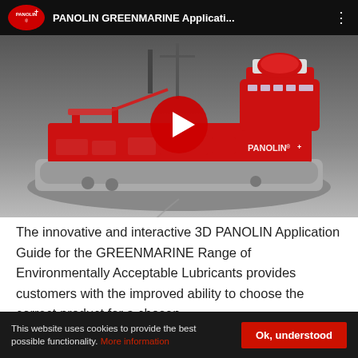[Figure (screenshot): YouTube video thumbnail showing PANOLIN GREENMARINE Application 3D ship model with play button overlay. Red and grey offshore vessel with PANOLIN branding. Dark header bar with PANOLIN logo and video title 'PANOLIN GREENMARINE Applicati...']
The innovative and interactive 3D PANOLIN Application Guide for the GREENMARINE Range of Environmentally Acceptable Lubricants provides customers with the improved ability to choose the correct product for a chosen
This website uses cookies to provide the best possible functionality. More information
Ok, understood